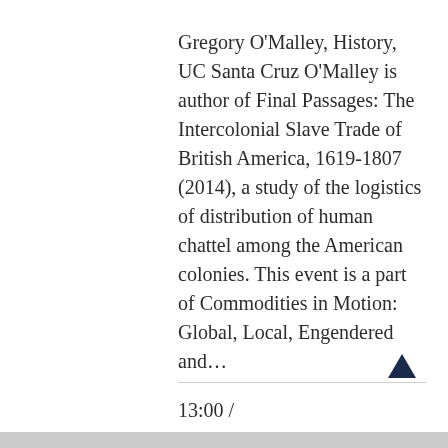Gregory O'Malley, History, UC Santa Cruz O'Malley is author of Final Passages: The Intercolonial Slave Trade of British America, 1619-1807 (2014), a study of the logistics of distribution of human chattel among the American colonies. This event is a part of Commodities in Motion: Global, Local, Engendered and...
13:00 /